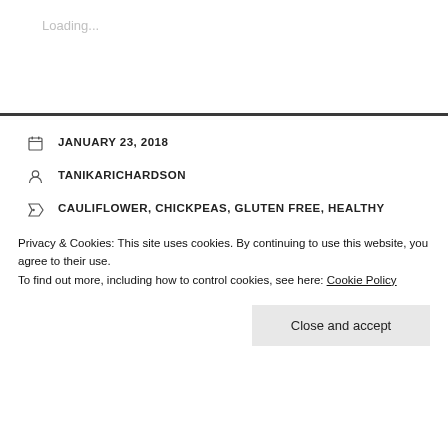Loading...
JANUARY 23, 2018
TANIKARICHARDSON
CAULIFLOWER, CHICKPEAS, GLUTEN FREE, HEALTHY EATING, HEALTHY MEALS, INDIAN INSPIRED DISH, POTATOES, TANIKA RICHARDSON, VEGAN
LEAVE A COMMENT
SOUTHWESTERN PASTA
[Figure (photo): Food photo strip showing mixed ingredients at bottom of page]
Privacy & Cookies: This site uses cookies. By continuing to use this website, you agree to their use.
To find out more, including how to control cookies, see here: Cookie Policy
Close and accept